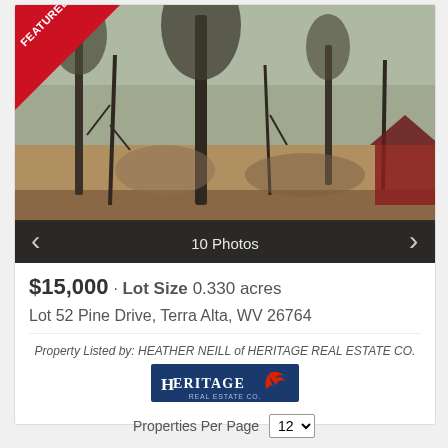[Figure (photo): Outdoor wooded lot photo showing bare trees, shrubs, and a red structure visible at right. A 'FEATURED LISTING' ribbon is in the top-left corner. Navigation bar at bottom reads '10 Photos' with left and right arrows.]
$15,000 · Lot Size 0.330 acres
Lot 52 Pine Drive, Terra Alta, WV 26764
Property Listed by: HEATHER NEILL of HERITAGE REAL ESTATE CO.
[Figure (logo): Heritage Real Estate Co. logo — dark blue background with 'HERITAGE' text in white serif font and a red bird/eagle graphic on the right.]
Properties Per Page  12